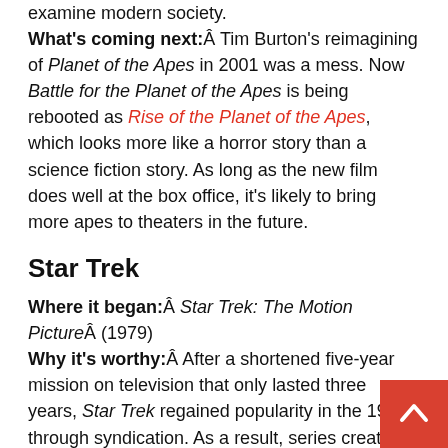same way the original Star Trek series used alien worlds to examine modern society. What's coming next: Tim Burton's reimagining of Planet of the Apes in 2001 was a mess. Now Battle for the Planet of the Apes is being rebooted as Rise of the Planet of the Apes, which looks more like a horror story than a science fiction story. As long as the new film does well at the box office, it's likely to bring more apes to theaters in the future.
Star Trek
Where it began: Star Trek: The Motion Picture (1979) Why it's worthy: After a shortened five-year mission on television that only lasted three years, Star Trek regained popularity in the 1970s through syndication. As a result, series creator Gene Roddenberry sold Paramount on the idea of a film series to continue the voyages of the starship Enterprise. For over three decades, the film have been a tentpole for Paramount, following first the original crew and then the of the Next Generation television series. When the series seemed destined for the final frontier, Paramount gave